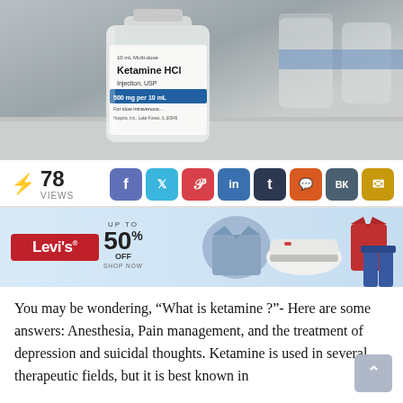[Figure (photo): Close-up photograph of a glass vial labeled 'Ketamine HCl Injection, USP 500 mg per 10 mL, 10 mL Multi-dose, For slow intravenous...' on a light grey surface with other vials in the background.]
78 VIEWS
[Figure (infographic): Row of social media sharing buttons: Facebook (blue), Twitter (light blue), Pinterest (red), LinkedIn (blue), Tumblr (dark navy), Reddit (orange), VK (grey-blue), Email (yellow)]
[Figure (photo): Levi's advertisement banner showing 'UP TO 50% OFF SHOP NOW' with images of a denim jacket, white sneakers, a red t-shirt and jeans on a light blue background.]
You may be wondering, “What is ketamine ?”- Here are some answers: Anesthesia, Pain management, and the treatment of depression and suicidal thoughts. Ketamine is used in several therapeutic fields, but it is best known in